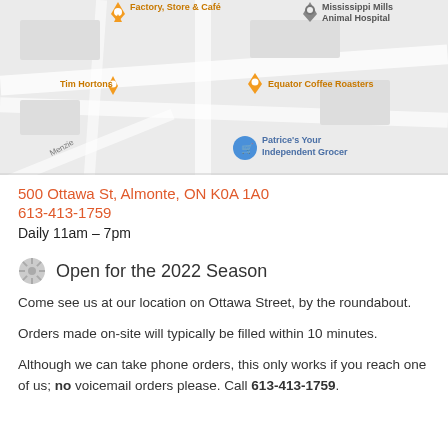[Figure (map): Google Maps screenshot showing area around 500 Ottawa St, Almonte, ON. Visible landmarks include Tim Hortons, Equator Coffee Roasters, Mississippi Mills Animal Hospital, Patrice's Your Independent Grocer, and a factory/store/cafe. Street Menzie visible.]
500 Ottawa St, Almonte, ON K0A 1A0
613-413-1759
Daily 11am – 7pm
Open for the 2022 Season
Come see us at our location on Ottawa Street, by the roundabout.
Orders made on-site will typically be filled within 10 minutes.
Although we can take phone orders, this only works if you reach one of us; no voicemail orders please. Call 613-413-1759.